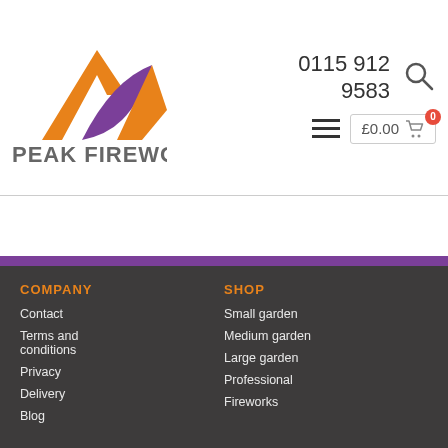[Figure (logo): Peak Fireworks logo — abstract mountain shape in orange and purple, with text PEAK FIREWORKS below]
0115 912 9583
[Figure (other): Search icon (magnifying glass)]
[Figure (other): Hamburger menu icon (three horizontal lines)]
£0.00
COMPANY
Contact
Terms and conditions
Privacy
Delivery
Blog
SHOP
Small garden
Medium garden
Large garden
Professional
Fireworks